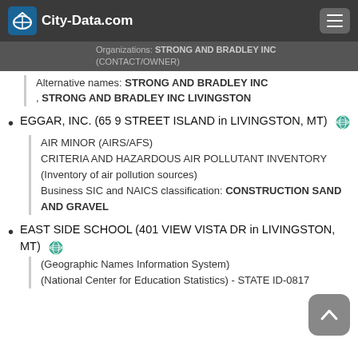City-Data.com
Organizations: STRONG AND BRADLEY INC (CONTACT/OWNER)
Alternative names: STRONG AND BRADLEY INC , STRONG AND BRADLEY INC LIVINGSTON
EGGAR, INC. (65 9 STREET ISLAND in LIVINGSTON, MT)
AIR MINOR (AIRS/AFS) CRITERIA AND HAZARDOUS AIR POLLUTANT INVENTORY (Inventory of air pollution sources) Business SIC and NAICS classification: CONSTRUCTION SAND AND GRAVEL
EAST SIDE SCHOOL (401 VIEW VISTA DR in LIVINGSTON, MT)
(Geographic Names Information System) (National Center for Education Statistics) - STATE ID-0817